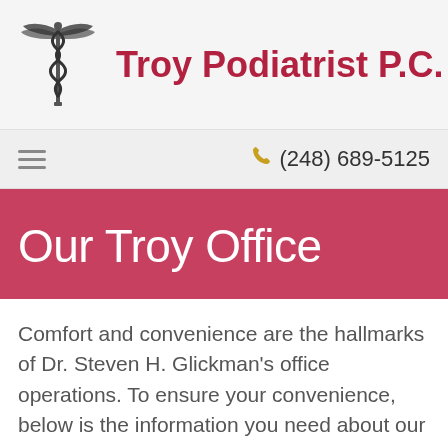[Figure (logo): Caduceus medical symbol (winged staff with serpents) in dark ink, logo for Troy Podiatrist P.C.]
Troy Podiatrist P.C.
(248) 689-5125
Our Troy Office
Comfort and convenience are the hallmarks of Dr. Steven H. Glickman's office operations. To ensure your convenience, below is the information you need about our hours, location, appointment scheduling, insurance acceptance and billing.